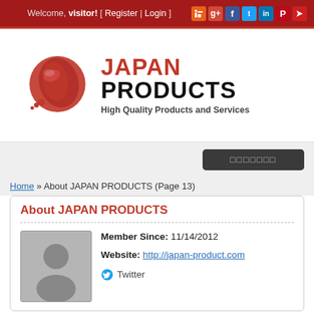Welcome, visitor! [ Register | Login ]
[Figure (logo): Japan Products logo with red circle map of Japan graphic and bold text 'JAPAN PRODUCTS' with subtitle 'High Quality Products and Services']
□□□□□□□
Home » About JAPAN PRODUCTS (Page 13)
About JAPAN PRODUCTS
Member Since: 11/14/2012
Website: http://japan-product.com
Twitter